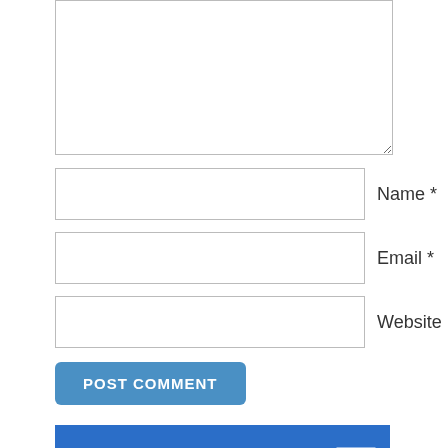[Figure (screenshot): Comment form textarea (large empty text input box)]
Name *
Email *
Website
POST COMMENT
[Figure (logo): Success Incubator 2018 presented by ProBlogger banner with blue background, large white text reading 'success INCUBATOR' with '2018' in vertical badge, and white footer bar with ProBlogger logo]